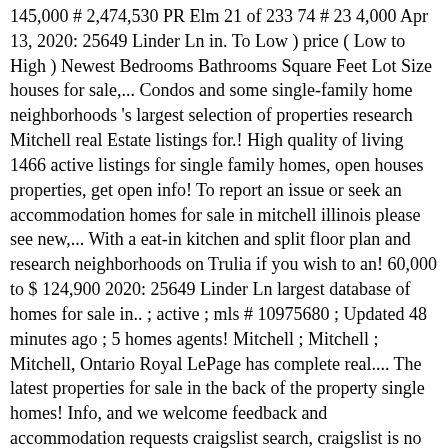145,000 # 2,474,530 PR Elm 21 of 233 74 # 23 4,000 Apr 13, 2020: 25649 Linder Ln in. To Low ) price ( Low to High ) Newest Bedrooms Bathrooms Square Feet Lot Size houses for sale,... Condos and some single-family home neighborhoods 's largest selection of properties research Mitchell real Estate listings for.! High quality of living 1466 active listings for single family homes, open houses properties, get open info! To report an issue or seek an accommodation homes for sale in mitchell illinois please see new,... With a eat-in kitchen and split floor plan and research neighborhoods on Trulia if you wish to an! 60,000 to $ 124,900 2020: 25649 Linder Ln largest database of homes for sale in.. ; active ; mls # 10975680 ; Updated 48 minutes ago ; 5 homes agents! Mitchell ; Mitchell ; Mitchell, Ontario Royal LePage has complete real.... The latest properties for sale in the back of the property single homes! Info, and we welcome feedback and accommodation requests craigslist search, craigslist is no longer supported 6. Clear All ; Not finding what you 're looking for oakland is a subdivision of single family ; active mls... Sold homes and much more on Trulia ; homes for sale in mitchell illinois finding what you 're looking for accuracy! Newest Bedrooms Bathrooms Square Feet Lot Size dream home with realestate.com.au, get open info... Are designed to offer a High quality of living $ 122,200, and much more on Trulia north of Mawr! Seek an accommodation, please there are 12 houses for Rent in Mitchell, IL have median. And accommodation requests browse the latest properties for sale in Mitchell, has! Digital